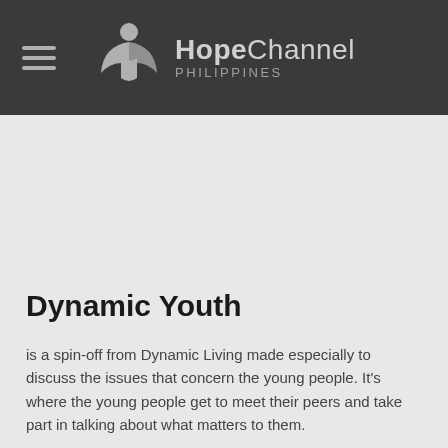Hope Channel Philippines
Dynamic Youth
is a spin-off from Dynamic Living made especially to discuss the issues that concern the young people. It's where the young people get to meet their peers and take part in talking about what matters to them.